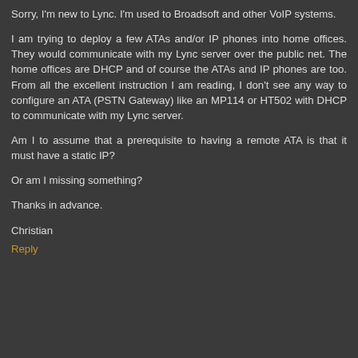Sorry, I'm new to Lync. I'm used to Broadsoft and other VoIP systems.
I am trying to deploy a few ATAs and/or IP phones into home offices. They would communicate with my Lync server over the public net. The home offices are DHCP and of course the ATAs and IP phones are too. From all the excellent instruction I am reading, I don't see any way to configure an ATA (PSTN Gateway) like an MP114 or HT502 with DHCP to communicate with my Lync server.
Am I to assume that a prerequisite to having a remote ATA is that it must have a static IP?
Or am I missing something?
Thanks in advance.
Christian
Reply